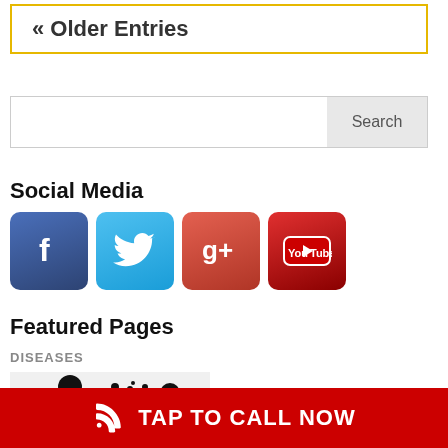« Older Entries
[Figure (screenshot): Search input box with Search button]
Social Media
[Figure (infographic): Social media icons: Facebook, Twitter, Google+, YouTube]
Featured Pages
DISEASES
[Figure (illustration): Black silhouette illustration of a person sneezing with dots representing germs toward another person]
TAP TO CALL NOW